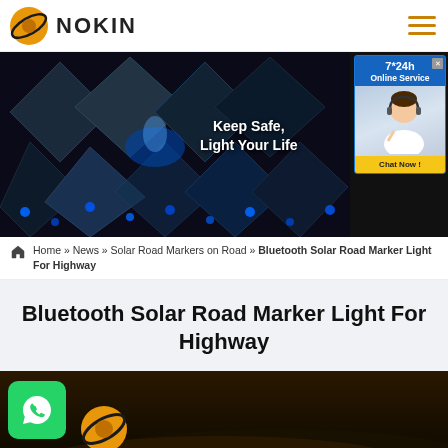NOKIN
[Figure (screenshot): Banner image with diamond-grid photo collage showing blue LED road markers and outdoor nighttime scenes with text 'Keep Safe, Light Your Life'. Has an online chat pop-up box on the right side showing '7*24h Online Service' and a 'Chat Now!' button.]
Home » News » Solar Road Markers on Road » Bluetooth Solar Road Marker Light For Highway
Bluetooth Solar Road Marker Light For Highway
[Figure (photo): Partial view of a dark road scene at night with the NOKIN logo (yellow globe with orbital ring) visible at lower left.]